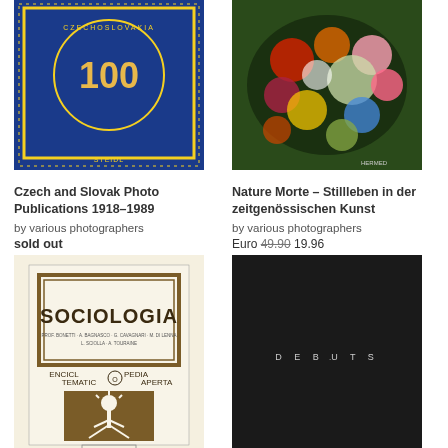[Figure (photo): Book cover: Czech and Slovak Photo Publications 1918-1989, colorful stamp-like design with '100' and Czechoslovakia text, Steidl publisher]
Czech and Slovak Photo Publications 1918–1989
by various photographers
sold out
[Figure (photo): Book cover: Nature Morte - Stillleben in der zeitgenössischen Kunst, colorful floral/botanical still life photograph]
Nature Morte - Stillleben in der zeitgenössischen Kunst
by various photographers
Euro 49.90 19.96
[Figure (photo): Book cover: Sociologia encyclopedia, white and brown design with sun/plant logo, Jaca Book publisher]
[Figure (photo): Book cover: Debuts 2014, black cover with embossed white text DEBUTS]
Debuts 2014